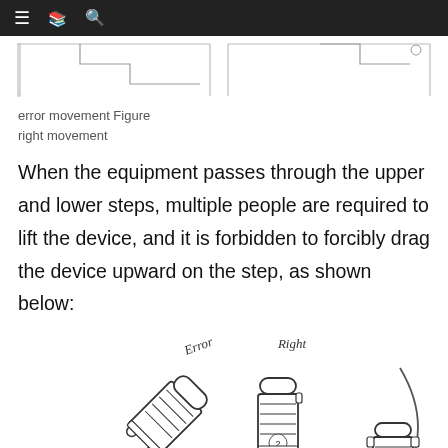≡  🖹  🔍
[Figure (engineering-diagram): Partial top diagram showing stair-step cross-section outlines, two panels side by side, cropped at top of page]
error movement Figure
right movement
When the equipment passes through the upper and lower steps, multiple people are required to lift the device, and it is forbidden to forcibly drag the device upward on the step, as shown below:
[Figure (engineering-diagram): Three illustrations showing a wheeled device on stairs. Left illustration labeled 'Error' shows device tilted at an angle being dragged upward on step (incorrect). Middle and right illustrations labeled 'Right' show device being lifted upright by people on stairs (correct method), with a curved arrow indicating proper rotation/movement.]